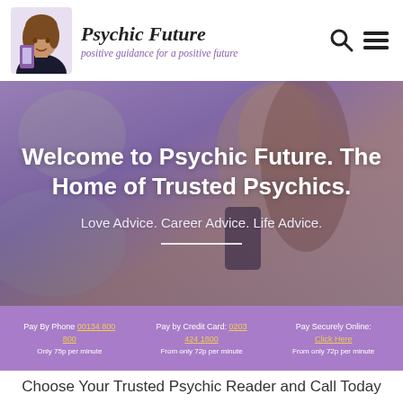Psychic Future — positive guidance for a positive future
Welcome to Psychic Future. The Home of Trusted Psychics.
Love Advice. Career Advice. Life Advice.
Pay By Phone 00134 800 800 Only 75p per minute | Pay by Credit Card: 0203 424 1800 From only 72p per minute | Pay Securely Online: Click Here From only 72p per minute
Choose Your Trusted Psychic Reader and Call Today